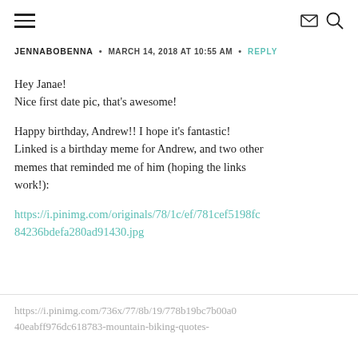≡  ✉  🔍
JENNABOBENNA  •  MARCH 14, 2018 AT 10:55 AM  •  REPLY
Hey Janae!
Nice first date pic, that's awesome!

Happy birthday, Andrew!! I hope it's fantastic! Linked is a birthday meme for Andrew, and two other memes that reminded me of him (hoping the links work!):

https://i.pinimg.com/originals/78/1c/ef/781cef5198fc84236bdefa280ad91430.jpg
https://i.pinimg.com/736x/77/8b/19/778b19bc7b00a040eabff976dc618783-mountain-biking-quotes-